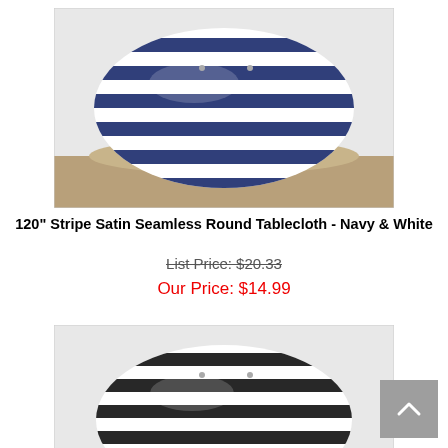[Figure (photo): Navy and white stripe satin round tablecloth draped over a round table, photographed against a light gray background on a wooden floor.]
120" Stripe Satin Seamless Round Tablecloth - Navy & White
List Price: $20.33
Our Price: $14.99
[Figure (photo): Black and white stripe satin round tablecloth draped over a round table, photographed against a light gray background.]